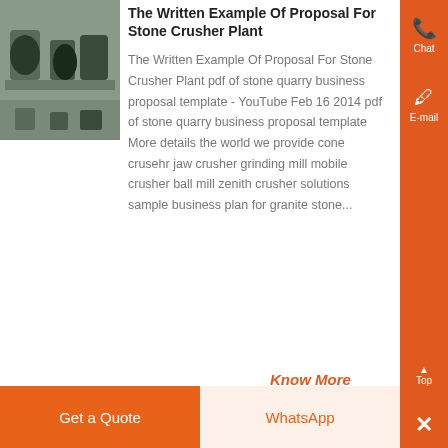[Figure (photo): Industrial machinery/motors in a facility yard]
The Written Example Of Proposal For Stone Crusher Plant
The Written Example Of Proposal For Stone Crusher Plant pdf of stone quarry business proposal template - YouTube Feb 16 2014 pdf of stone quarry business proposal template More details the world we provide cone crusehr jaw crusher grinding mill mobile crusher ball mill zenith crusher solutions sample business plan for granite stone...
Know More